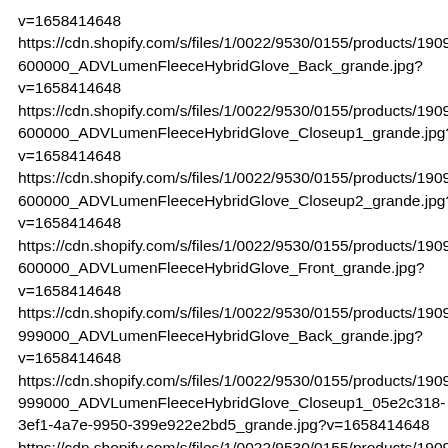v=1658414648
https://cdn.shopify.com/s/files/1/0022/9530/0155/products/1909836-600000_ADVLumenFleeceHybridGlove_Back_grande.jpg?v=1658414648
https://cdn.shopify.com/s/files/1/0022/9530/0155/products/1909836-600000_ADVLumenFleeceHybridGlove_Closeup1_grande.jpg?v=1658414648
https://cdn.shopify.com/s/files/1/0022/9530/0155/products/1909836-600000_ADVLumenFleeceHybridGlove_Closeup2_grande.jpg?v=1658414648
https://cdn.shopify.com/s/files/1/0022/9530/0155/products/1909836-600000_ADVLumenFleeceHybridGlove_Front_grande.jpg?v=1658414648
https://cdn.shopify.com/s/files/1/0022/9530/0155/products/1909836-999000_ADVLumenFleeceHybridGlove_Back_grande.jpg?v=1658414648
https://cdn.shopify.com/s/files/1/0022/9530/0155/products/1909836-999000_ADVLumenFleeceHybridGlove_Closeup1_05e2c318-3ef1-4a7e-9950-399e922e2bd5_grande.jpg?v=1658414648
https://cdn.shopify.com/s/files/1/0022/9530/0155/products/1909836-999000_ADVLumenFleeceHybridGlove_Closeup2_grande.jpg?v=1658414648
https://cdn.shopify.com/s/files/1/0022/9530/0155/products/1909836-999000_ADVLumenFleeceHybridGlove_Front_grande.jpg?v=1658414648